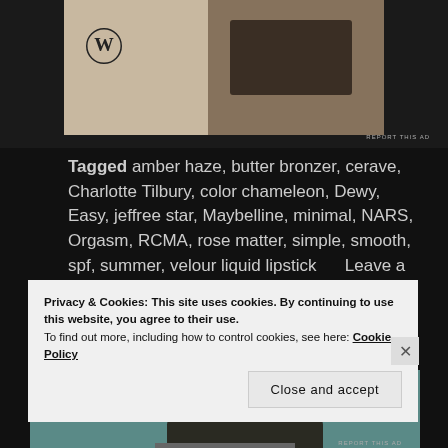[Figure (photo): Partial view of a WordPress ad image showing a laptop with hands typing, with WordPress logo visible and 'REPORT THIS AD' text at bottom right]
Tagged amber haze, butter bronzer, cerave, Charlotte Tilbury, color chameleon, Dewy, Easy, jeffree star, Maybelline, minimal, NARS, Orgasm, RCMA, rose matter, simple, smooth, spf, summer, velour liquid lipstick     Leave a comment
[Figure (photo): Partial view of a photo showing a person's dark hair, with a teal/green background and wooden furniture]
Privacy & Cookies: This site uses cookies. By continuing to use this website, you agree to their use.
To find out more, including how to control cookies, see here: Cookie Policy